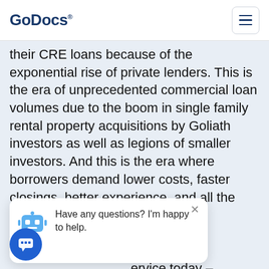GoDocs®
their CRE loans because of the exponential rise of private lenders. This is the era of unprecedented commercial loan volumes due to the boom in single family rental property acquisitions by Goliath investors as well as legions of smaller investors. And this is the era where borrowers demand lower costs, faster closings, better experience, and all the other digital services that modern shoppers (consumers) have to come to expect from any service today – delivering a digital-first experience. This means digitizing your loan services without losing any of the flexibility (loan types, pricing and payment options, deal complexity, collateral complexity, etc.) required to complete a transaction.
Have any questions? I'm happy to help.